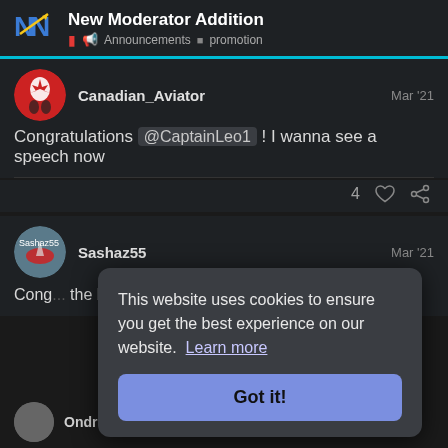New Moderator Addition — Announcements · promotion
Canadian_Aviator — Mar '21
Congratulations @CaptainLeo1 ! I wanna see a speech now
Sashaz55 — Mar '21
Cong... the be...
This website uses cookies to ensure you get the best experience on our website. Learn more Got it!
Ondrej